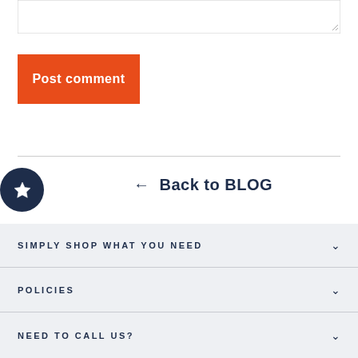[Figure (screenshot): Textarea input box with resize handle in bottom-right corner]
Post comment
← Back to BLOG
SIMPLY SHOP WHAT YOU NEED
POLICIES
NEED TO CALL US?